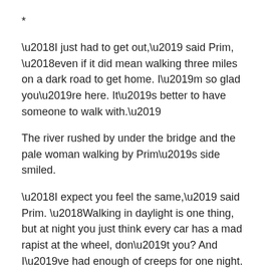*
‘I just had to get out,’ said Prim, ‘even if it did mean walking three miles on a dark road to get home. I’m so glad you’re here. It’s better to have someone to walk with.’
The river rushed by under the bridge and the pale woman walking by Prim’s side smiled.
‘I expect you feel the same,’ said Prim. ‘Walking in daylight is one thing, but at night you just think every car has a mad rapist at the wheel, don’t you? And I’ve had enough of creeps for one night. I swear, I’ll never go on a blind date again.’
They walked on in silence. Prim admired the shimmering dress her companion wore, just like flowing water.